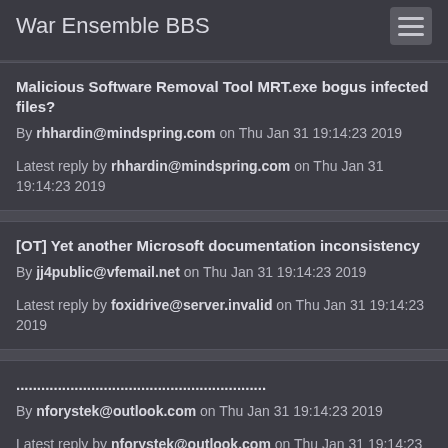War Ensemble BBS
Malicious Software Removal Tool MRT.exe bogus infected files?
By rhhardin@mindspring.com on Thu Jan 31 19:14:23 2019
Latest reply by rhhardin@mindspring.com on Thu Jan 31 19:14:23 2019
[OT] Yet another Microsoft documentation inconsistency
By jj4public@vfemail.net on Thu Jan 31 19:14:23 2019
Latest reply by foxidrive@server.invalid on Thu Jan 31 19:14:23 2019
............................................................
By nforystek@outlook.com on Thu Jan 31 19:14:23 2019
Latest reply by nforystek@outlook.com on Thu Jan 31 19:14:23 2019